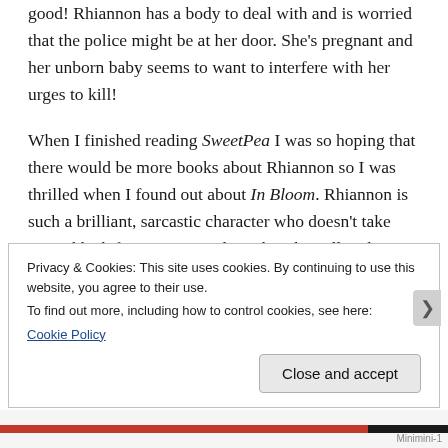good! Rhiannon has a body to deal with and is worried that the police might be at her door. She's pregnant and her unborn baby seems to want to interfere with her urges to kill!
When I finished reading SweetPea I was so hoping that there would be more books about Rhiannon so I was thrilled when I found out about In Bloom. Rhiannon is such a brilliant, sarcastic character who doesn't take any rubbish from anyone. I love that she still makes lists of all the things that annoy her, it makes it easy to
Privacy & Cookies: This site uses cookies. By continuing to use this website, you agree to their use.
To find out more, including how to control cookies, see here:
Cookie Policy
Close and accept